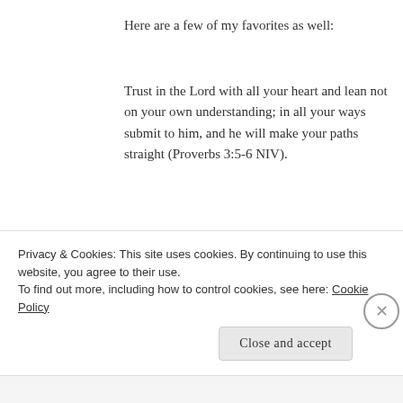Here are a few of my favorites as well:
Trust in the Lord with all your heart and lean not on your own understanding; in all your ways submit to him, and he will make your paths straight (Proverbs 3:5-6 NIV).
And we know that in all things God works for the good of those who love him, who have been called according to his purpose (Romans 8:28 NIV).
Privacy & Cookies: This site uses cookies. By continuing to use this website, you agree to their use.
To find out more, including how to control cookies, see here: Cookie Policy
Close and accept